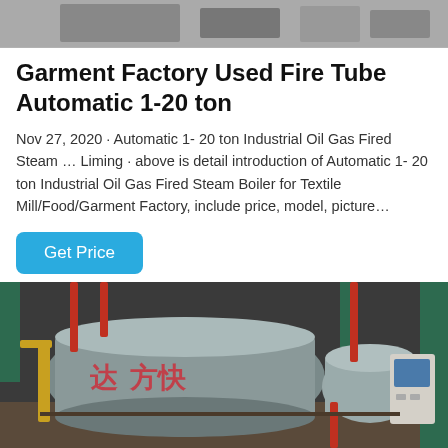[Figure (photo): Top portion of a grayscale industrial machine/equipment photo, partially cropped]
Garment Factory Used Fire Tube Automatic 1-20 ton
Nov 27, 2020 · Automatic 1- 20 ton Industrial Oil Gas Fired Steam … Liming · above is detail introduction of Automatic 1- 20 ton Industrial Oil Gas Fired Steam Boiler for Textile Mill/Food/Garment Factory, include price, model, picture…
Get Price
[Figure (photo): Industrial boiler facility photo showing large gray cylindrical boilers with red and yellow piping, green structural columns, and a control panel. Chinese characters visible on the boiler.]